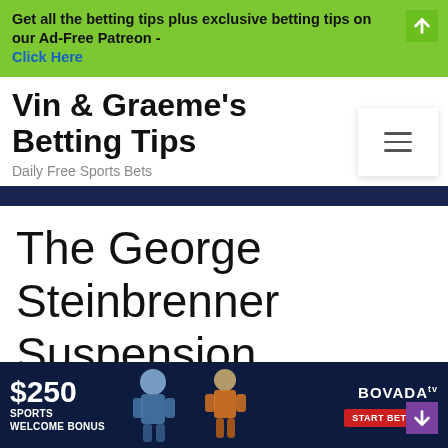Get all the betting tips plus exclusive betting tips on our Ad-Free Patreon - Click Here
Vin & Graeme's Betting Tips
Daily Free Sports Bets
The George Steinbrenner Suspension
[Figure (infographic): Bovada sports betting advertisement banner: $250 Sports Welcome Bonus with athletes silhouettes and Start Betting button]